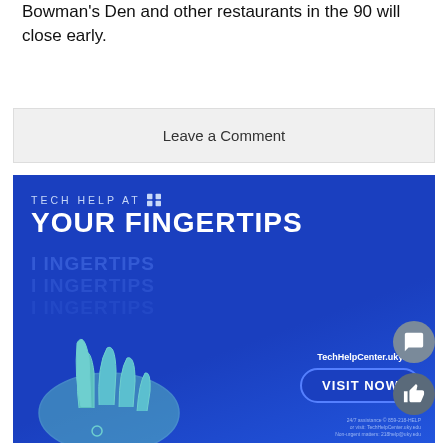Bowman's Den and other restaurants in the 90 will close early.
Leave a Comment
[Figure (infographic): Blue advertisement banner for University of Kentucky Tech Help Center. Text reads 'TECH HELP AT [UK logo] YOUR FINGERTIPS' with reflected echo text below. Shows an illustrated teal hand reaching toward a 'VISIT NOW' button. URL TechHelpCenter.uky.edu shown. Bottom text: 24/7 assistance 859-218-HELP or visit TechHelpCenter.uky.edu, Non-urgent matters: 218help@uky.edu]